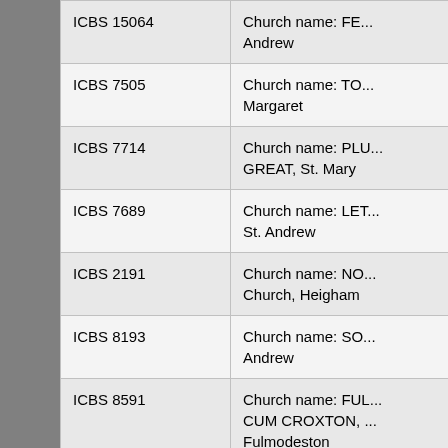| ID | Description |
| --- | --- |
| ICBS 15064 | Church name: FE... Andrew |
| ICBS 7505 | Church name: TO... Margaret |
| ICBS 7714 | Church name: PLU... GREAT, St. Mary |
| ICBS 7689 | Church name: LET... St. Andrew |
| ICBS 2191 | Church name: NO... Church, Heigham |
| ICBS 8193 | Church name: SO... Andrew |
| ICBS 8591 | Church name: FUL... CUM CROXTON, ... Fulmodeston |
| ICBS 9183 | Church name: MO... St. Michael |
| ICBS 15057 | Church name: BA... St. Mary the Virgin |
| ICBS 9175 | Church name: CO... Edmund |
| ICBS 9857 | Church name: BA... LITTLE, St. Andrew |